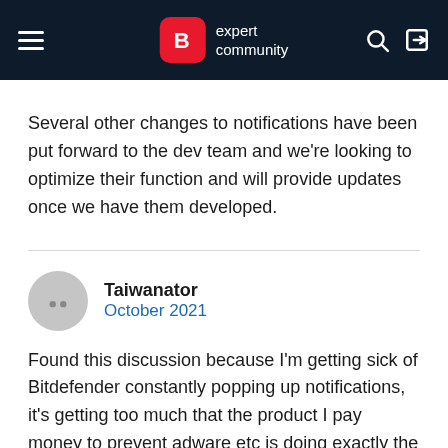Bitdefender expert community
Several other changes to notifications have been put forward to the dev team and we're looking to optimize their function and will provide updates once we have them developed.
Taiwanator
October 2021

Found this discussion because I'm getting sick of Bitdefender constantly popping up notifications, it's getting too much that the product I pay money to prevent adware etc is doing exactly the same thing. This software is supposed to run quietly in the background, not